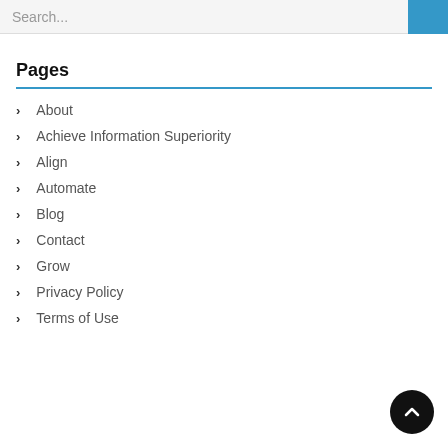Search...
Pages
About
Achieve Information Superiority
Align
Automate
Blog
Contact
Grow
Privacy Policy
Terms of Use